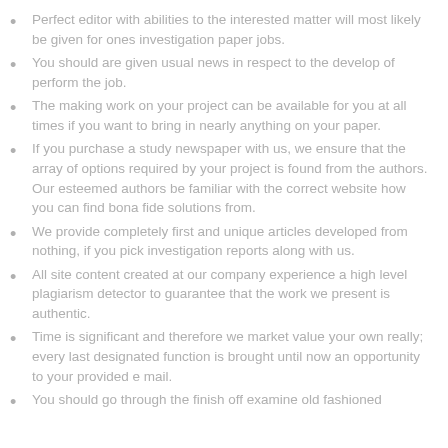Perfect editor with abilities to the interested matter will most likely be given for ones investigation paper jobs.
You should are given usual news in respect to the develop of perform the job.
The making work on your project can be available for you at all times if you want to bring in nearly anything on your paper.
If you purchase a study newspaper with us, we ensure that the array of options required by your project is found from the authors. Our esteemed authors be familiar with the correct website how you can find bona fide solutions from.
We provide completely first and unique articles developed from nothing, if you pick investigation reports along with us.
All site content created at our company experience a high level plagiarism detector to guarantee that the work we present is authentic.
Time is significant and therefore we market value your own really; every last designated function is brought until now an opportunity to your provided e mail.
You should go through the finish off examine old fashioned